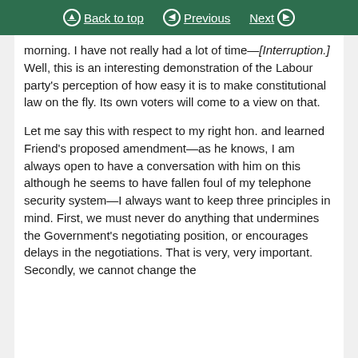Back to top | Previous | Next
morning. I have not really had a lot of time—[Interruption.] Well, this is an interesting demonstration of the Labour party's perception of how easy it is to make constitutional law on the fly. Its own voters will come to a view on that.
Let me say this with respect to my right hon. and learned Friend's proposed amendment—as he knows, I am always open to have a conversation with him on this although he seems to have fallen foul of my telephone security system—I always want to keep three principles in mind. First, we must never do anything that undermines the Government's negotiating position, or encourages delays in the negotiations. That is very, very important. Secondly, we cannot change the